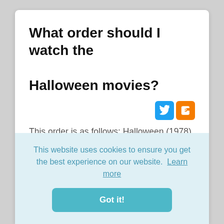What order should I watch the Halloween movies?
[Figure (logo): Twitter and Blogger social share icons]
This order is as follows: Halloween (1978), Halloween II (1981), Halloween III: Season of the Witch (1982), Halloween IV: The Return of Michael Myers (1988), Halloween V: The Revenge of Michael Myers (1989), Halloween:
This website uses cookies to ensure you get the best experience on our website. Learn more
Got it!